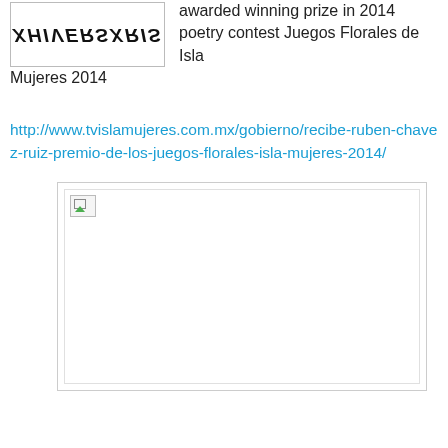[Figure (logo): Logo with mirrored/flipped text reading XHIVERSXRIS in bold italic style, inside a bordered box]
awarded winning prize in 2014 poetry contest Juegos Florales de Isla Mujeres 2014
http://www.tvislamujeres.com.mx/gobierno/recibe-ruben-chavez-ruiz-premio-de-los-juegos-florales-isla-mujeres-2014/
[Figure (photo): A placeholder/broken image inside a bordered rectangle container]